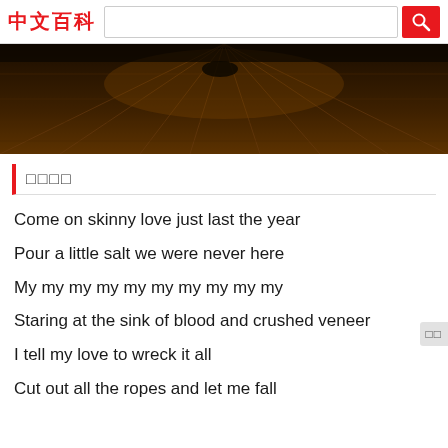中文百科 [search bar] [search button]
[Figure (photo): Dark wooden floor planks viewed at an angle, dimly lit with warm brown tones]
□□□□
Come on skinny love just last the year
Pour a little salt we were never here
My my my my my my my my my my
Staring at the sink of blood and crushed veneer
I tell my love to wreck it all
Cut out all the ropes and let me fall